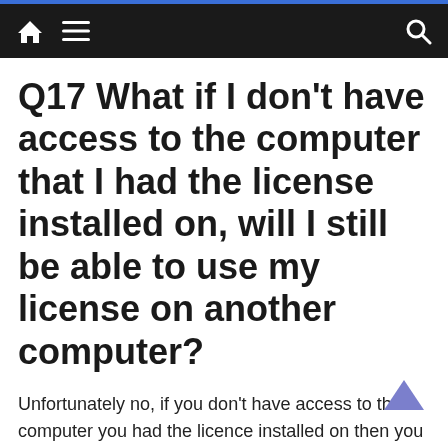Navigation bar with home icon, menu icon, and search icon
Q17 What if I don’t have access to the computer that I had the license installed on, will I still be able to use my license on another computer?
Unfortunately no, if you don’t have access to the computer you had the licence installed on then you can’t retrieve your license, you will need to purchase another license.
we have no means to telling that the license isn’t being installed on different machines, so every license